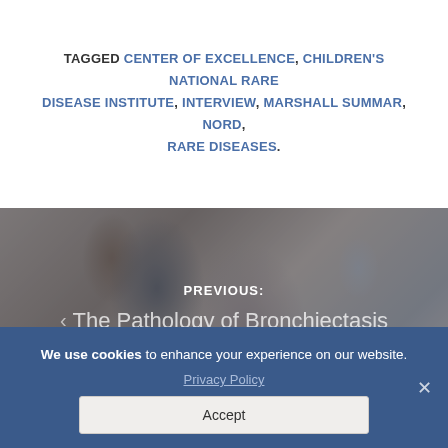TAGGED CENTER OF EXCELLENCE, CHILDREN'S NATIONAL RARE DISEASE INSTITUTE, INTERVIEW, MARSHALL SUMMAR, NORD, RARE DISEASES.
[Figure (photo): Background photo of a doctor examining a patient (back view), overlaid with navigation text showing 'PREVIOUS: The Pathology of Bronchiectasis']
We use cookies to enhance your experience on our website. Privacy Policy Accept